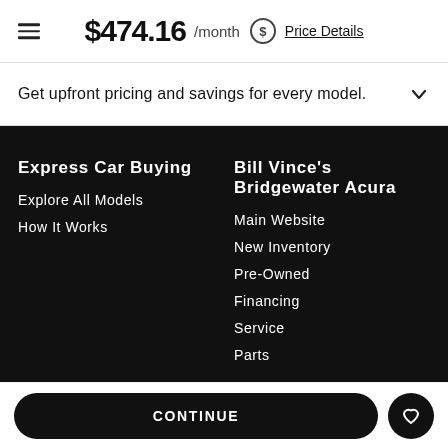$474.16 /month Price Details
Get upfront pricing and savings for every model.
Express Car Buying
Explore All Models
How It Works
Bill Vince's Bridgewater Acura
Main Website
New Inventory
Pre-Owned
Financing
Service
Parts
CONTINUE